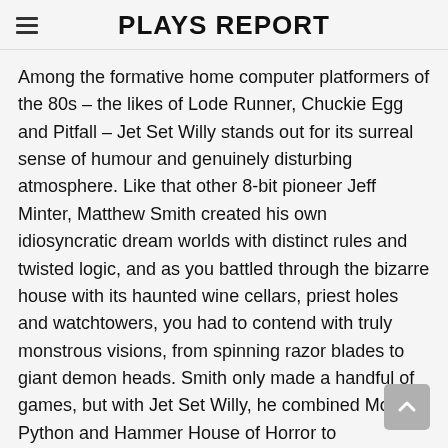PLAYS REPORT
Among the formative home computer platformers of the 80s – the likes of Lode Runner, Chuckie Egg and Pitfall – Jet Set Willy stands out for its surreal sense of humour and genuinely disturbing atmosphere. Like that other 8-bit pioneer Jeff Minter, Matthew Smith created his own idiosyncratic dream worlds with distinct rules and twisted logic, and as you battled through the bizarre house with its haunted wine cellars, priest holes and watchtowers, you had to contend with truly monstrous visions, from spinning razor blades to giant demon heads. Smith only made a handful of games, but with Jet Set Willy, he combined Monty Python and Hammer House of Horror to unforgettable effect.
13. Track & Field (1983, Konami)